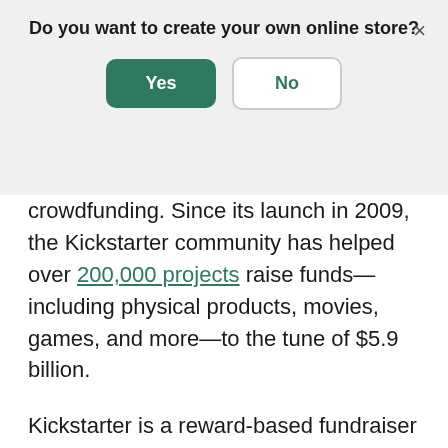Do you want to create your own online store?
[Figure (screenshot): Modal dialog with Yes (green filled button) and No (white outlined button) options, and an X close button]
crowdfunding. Since its launch in 2009, the Kickstarter community has helped over 200,000 projects raise funds—including physical products, movies, games, and more—to the tune of $5.9 billion.
Kickstarter is a reward-based fundraiser platform. Backers are offered incentives to support a project, including t-shirts, shoutouts, or exclusive pre-order discounts. You can offer different tiers of rewards too. The more money a backer pledges, the better the rewards they